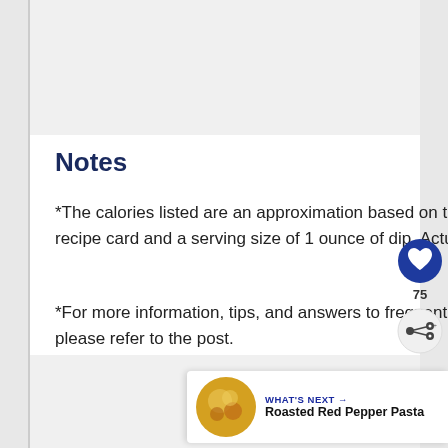Notes
*The calories listed are an approximation based on the ingredients in the recipe card and a serving size of 1 ounce of dip. Actual calories will vary.
*For more information, tips, and answers to frequently asked questions, please refer to the post.
[Figure (infographic): Social sidebar with heart/like button showing 75 likes, and a share button with network icon]
[Figure (infographic): What's Next banner showing a circular food photo of Roasted Red Pepper Pasta with arrow and label]